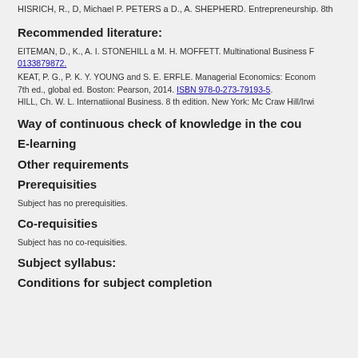HISRICH, R., D, Michael P. PETERS a D., A. SHEPHERD. Entrepreneurship. 8th
Recommended literature:
EITEMAN, D., K., A. I. STONEHILL a M. H. MOFFETT. Multinational Business F... 0133879872.
KEAT, P. G., P. K. Y. YOUNG and S. E. ERFLE. Managerial Economics: Econom... 7th ed., global ed. Boston: Pearson, 2014. ISBN 978-0-273-79193-5.
HILL, Ch. W. L. Internatiional Business. 8 th edition. New York: Mc Craw Hill/Irwi...
Way of continuous check of knowledge in the cou
E-learning
Other requirements
Prerequisities
Subject has no prerequisities.
Co-requisities
Subject has no co-requisities.
Subject syllabus:
Conditions for subject completion